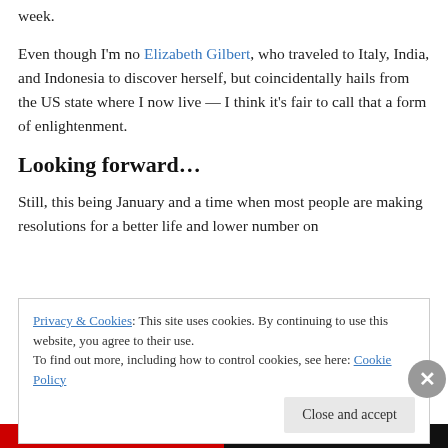week.
Even though I'm no Elizabeth Gilbert, who traveled to Italy, India, and Indonesia to discover herself, but coincidentally hails from the US state where I now live — I think it's fair to call that a form of enlightenment.
Looking forward…
Still, this being January and a time when most people are making resolutions for a better life and lower number on
Privacy & Cookies: This site uses cookies. By continuing to use this website, you agree to their use.
To find out more, including how to control cookies, see here: Cookie Policy
Close and accept
Advertisements